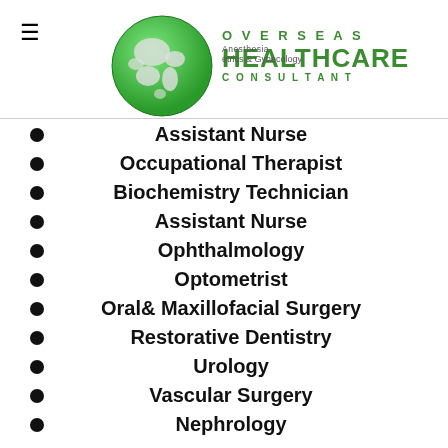[Figure (logo): Overseas Healthcare Consultant logo with green globe and green text]
Anesthesia
Obstetrics & Gynecology
Assistant Nurse
Occupational Therapist
Biochemistry Technician
Assistant Nurse
Ophthalmology
Optometrist
Oral& Maxillofacial Surgery
Restorative Dentistry
Urology
Vascular Surgery
Nephrology